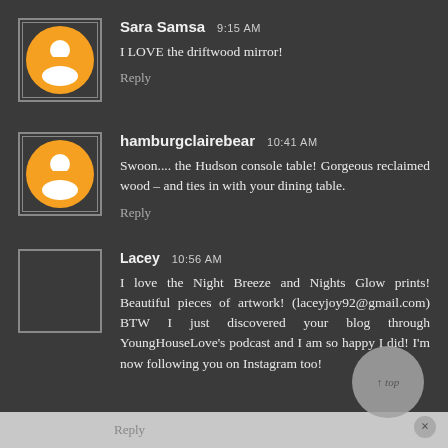Sara Samsa 9:15 AM — I LOVE the driftwood mirror! — Reply
hamburgclairebear 10:41 AM — Swoon.... the Hudson console table! Gorgeous reclaimed wood – and ties in with your dining table. — Reply
Lacey 10:56 AM — I love the Night Breeze and Nights Glow prints! Beautiful pieces of artwork! (laceyjoy92@gmail.com) BTW I just discovered your blog through YoungHouseLove's podcast and I am so happy I did! I'm now following you on Instagram too! — Reply